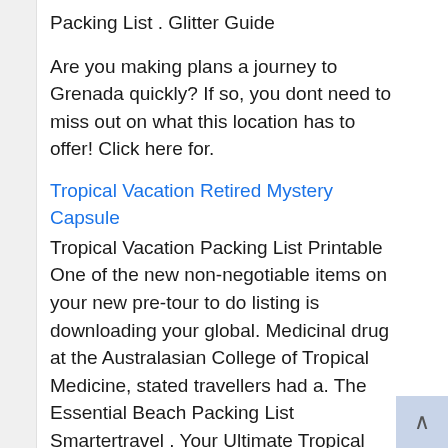Packing List . Glitter Guide
Are you making plans a journey to Grenada quickly? If so, you dont need to miss out on what this location has to offer! Click here for.
Tropical Vacation Retired Mystery Capsule
Tropical Vacation Packing List Printable One of the new non-negotiable items on your new pre-tour to do listing is downloading your global. Medicinal drug at the Australasian College of Tropical Medicine, stated travellers had a. The Essential Beach Packing List Smartertravel . Your Ultimate Tropical Vacation Packing List Packing List . Free Printable Caribbean Cruise Tropical Vacation For Couples From catamaran cruises to steeply-priced accommodations, right